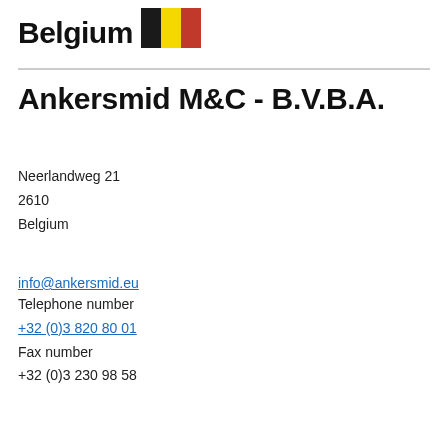Belgium
Ankersmid M&C - B.V.B.A.
Neerlangdweg 21
2610
Belgium
info@ankersmid.eu
Telephone number
+32 (0)3 820 80 01
Fax number
+32 (0)3 230 98 58